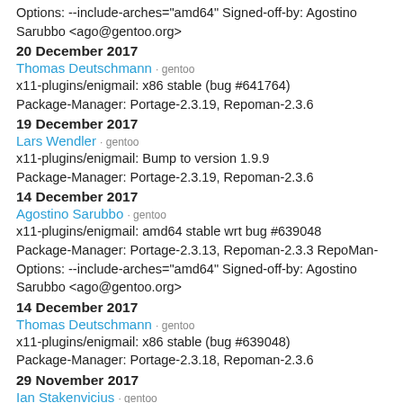Options: --include-arches="amd64" Signed-off-by: Agostino Sarubbo <ago@gentoo.org>
20 December 2017
Thomas Deutschmann · gentoo
x11-plugins/enigmail: x86 stable (bug #641764)
Package-Manager: Portage-2.3.19, Repoman-2.3.6
19 December 2017
Lars Wendler · gentoo
x11-plugins/enigmail: Bump to version 1.9.9
Package-Manager: Portage-2.3.19, Repoman-2.3.6
14 December 2017
Agostino Sarubbo · gentoo
x11-plugins/enigmail: amd64 stable wrt bug #639048
Package-Manager: Portage-2.3.13, Repoman-2.3.3 RepoMan-Options: --include-arches="amd64" Signed-off-by: Agostino Sarubbo <ago@gentoo.org>
14 December 2017
Thomas Deutschmann · gentoo
x11-plugins/enigmail: x86 stable (bug #639048)
Package-Manager: Portage-2.3.18, Repoman-2.3.6
29 November 2017
Ian Stakenvicius · gentoo